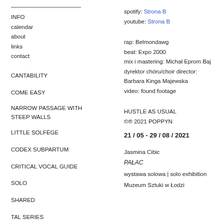INFO
calendar
about
links
contact
CANTABILITY
COME EASY
NARROW PASSAGE WITH STEEP WALLS
LITTLE SOLFÈGE
CODEX SUBPARTUM
CRITICAL VOCAL GUIDE
SOLO
SHARED
TAL SERIES
spotify: Strona B
youtube: Strona B
rap: Belmondawg
beat: Expo 2000
mix i mastering: Michał Eprom Baj
dyrektor chóru/choir director: Barbara Kinga Majewska
video: found footage
HUSTLE AS USUAL
©® 2021 POPPYN
21 / 05 - 29 / 08 / 2021
Jasmina Cibic
PAŁAC
wystawa solowa | solo exhibition
Muzeum Sztuki w Łodzi